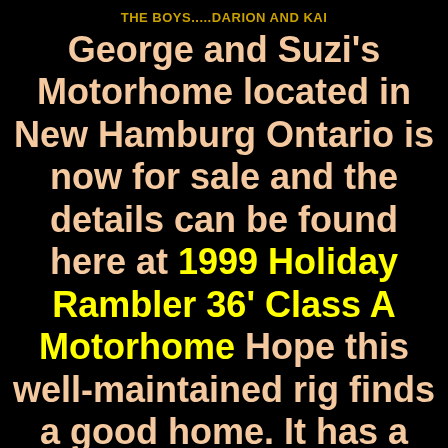THE BOYS.....DARION AND KAI
George and Suzi's Motorhome located in New Hamburg Ontario is now for sale and the details can be found here at 1999 Holiday Rambler 36' Class A Motorhome  Hope this well-maintained rig finds a good home.  It has a fine RV travel blog history and